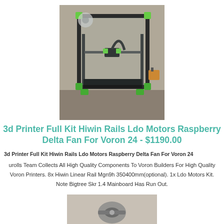[Figure (photo): Photo of a 3D printer (Voron 2.4) with green accents on a black frame, open cube structure, on a desk]
3d Printer Full Kit Hiwin Rails Ldo Motors Raspberry Delta Fan For Voron 24 - $1190.00
3d Printer Full Kit Hiwin Rails Ldo Motors Raspberry Delta Fan For Voron 24
urolls Team Collects All High Quality Components To Voron Builders For High Quality Voron Printers. 8x Hiwin Linear Rail Mgn9h 350400mm(optional). 1x Ldo Motors Kit. Note Bigtree Skr 1.4 Mainboard Has Run Out.
[Figure (photo): Partial photo of a small mechanical component or hardware piece]